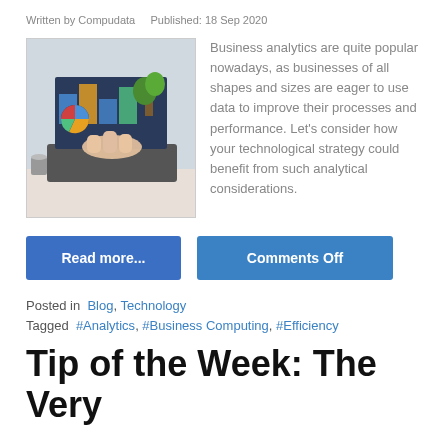Written by Compudata    Published: 18 Sep 2020
[Figure (photo): Person pointing at a laptop screen showing analytics charts and graphs, with a plant in the background]
Business analytics are quite popular nowadays, as businesses of all shapes and sizes are eager to use data to improve their processes and performance. Let's consider how your technological strategy could benefit from such analytical considerations.
Read more...
Comments Off
Posted in  Blog, Technology
Tagged  #Analytics, #Business Computing, #Efficiency
Tip of the Week: The Very